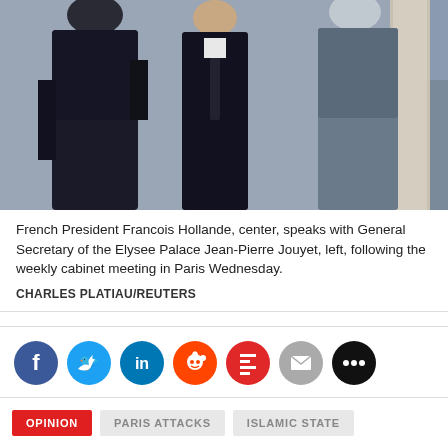[Figure (photo): French President Francois Hollande, center, speaks with General Secretary of the Elysee Palace Jean-Pierre Jouyet, left, following the weekly cabinet meeting in Paris Wednesday. Three men in dark suits photographed outdoors near a column.]
French President Francois Hollande, center, speaks with General Secretary of the Elysee Palace Jean-Pierre Jouyet, left, following the weekly cabinet meeting in Paris Wednesday.
CHARLES PLATIAU/REUTERS
[Figure (infographic): Social sharing buttons: Facebook (blue), Twitter (blue), LinkedIn (blue), Reddit (orange), Flipboard (red), Email (gray), More (black)]
OPINION   PARIS ATTACKS   ISLAMIC STATE